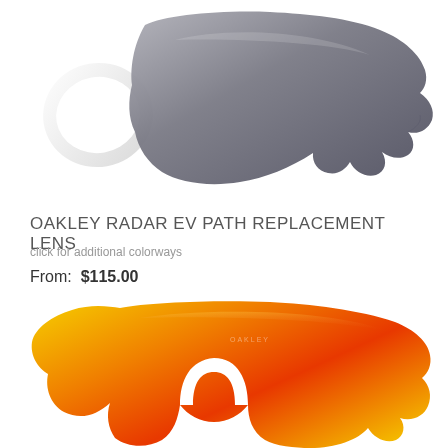[Figure (photo): Oakley Radar EV Path replacement lens in dark grey/black colorway, shown from front angle with white frame portion visible on left]
OAKLEY RADAR EV PATH REPLACEMENT LENS
click for additional colorways
From:  $115.00
[Figure (photo): Oakley Radar EV Path replacement lens in fire/red-orange iridium colorway with yellow gradient, showing nose bridge cutout]